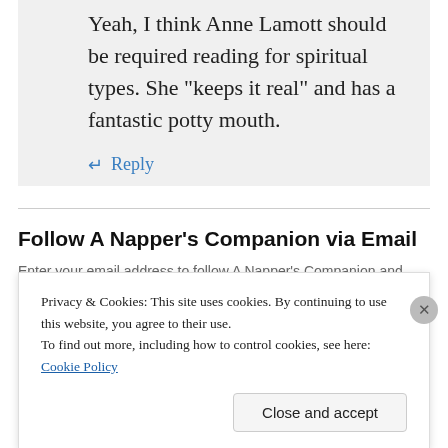Yeah, I think Anne Lamott should be required reading for spiritual types. She “keeps it real” and has a fantastic potty mouth.
↵ Reply
Follow A Napper’s Companion via Email
Enter your email address to follow A Napper’s Companion and receive notifications of new posts by email.
Privacy & Cookies: This site uses cookies. By continuing to use this website, you agree to their use. To find out more, including how to control cookies, see here: Cookie Policy
Close and accept